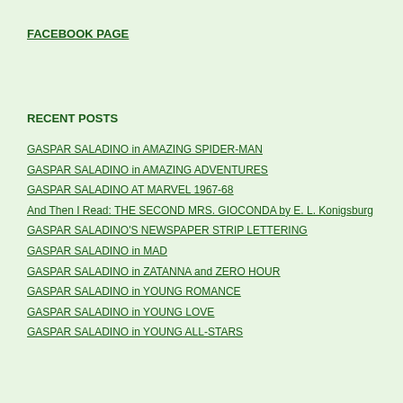FACEBOOK PAGE
RECENT POSTS
GASPAR SALADINO in AMAZING SPIDER-MAN
GASPAR SALADINO in AMAZING ADVENTURES
GASPAR SALADINO AT MARVEL 1967-68
And Then I Read: THE SECOND MRS. GIOCONDA by E. L. Konigsburg
GASPAR SALADINO'S NEWSPAPER STRIP LETTERING
GASPAR SALADINO in MAD
GASPAR SALADINO in ZATANNA and ZERO HOUR
GASPAR SALADINO in YOUNG ROMANCE
GASPAR SALADINO in YOUNG LOVE
GASPAR SALADINO in YOUNG ALL-STARS